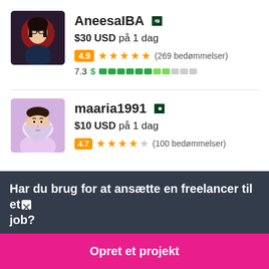[Figure (photo): Profile photo of AneesaIBA, a woman with glasses and dark hair on dark red background]
AneesaIBA
$30 USD på 1 dag
4.9 ★★★★★ (269 bedømmelser)
7.3 $ [progress bar]
[Figure (photo): Profile photo of maaria1991, a young woman in light-colored clothing]
maaria1991
$10 USD på 1 dag
(100+ bedømmelser) [partially visible]
Har du brug for at ansætte en freelancer til et job?
Opret et projekt